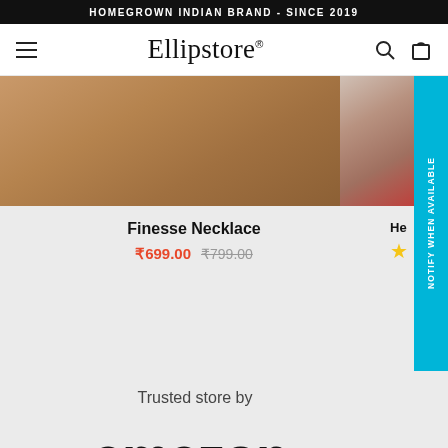HOMEGROWN INDIAN BRAND - SINCE 2019
Ellipstore®
[Figure (photo): Product image of Finesse Necklace on a brown kraft paper background, with a partial view of another product showing red color on the right]
Finesse Necklace
₹699.00  ₹799.00
He...
Trusted store by
[Figure (logo): Amazon logo with smile arrow in black and orange]